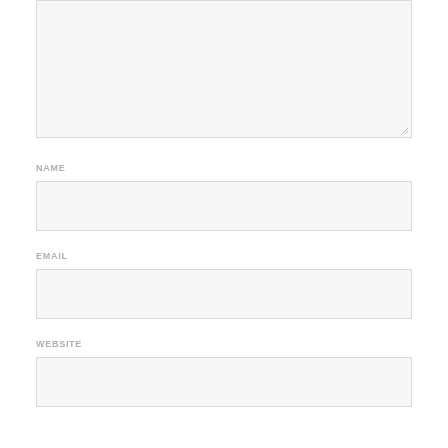[Figure (screenshot): A textarea input box (large, empty, with a resize handle in the bottom-right corner)]
NAME
[Figure (screenshot): A single-line text input box for NAME field, empty]
EMAIL
[Figure (screenshot): A single-line text input box for EMAIL field, empty]
WEBSITE
[Figure (screenshot): A single-line text input box for WEBSITE field, empty]